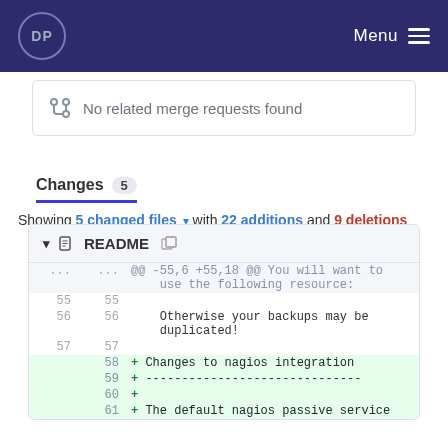DP  Menu
No related merge requests found
Changes 5
Showing 5 changed files with 22 additions and 9 deletions
README  @@ -55,6 +55,18 @@ You will want to use the following resource:
55  55
56  56  Otherwise your backups may be duplicated!
57  57
   58 + Changes to nagios integration
   59 + ------------------------------
   60 +
   61 + The default nagios passive service